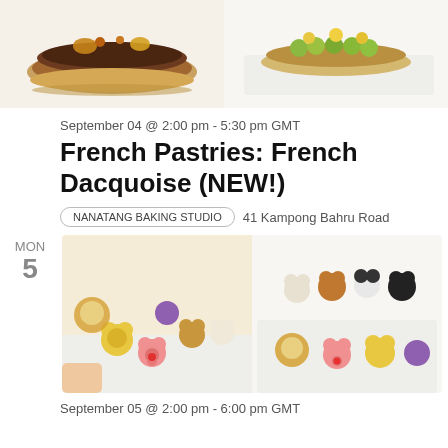[Figure (photo): Two photos of French Dacquoise pastries side by side — left shows a chocolate eclair-style dacquoise with dried fruit on top, right shows a similar pastry on a white tray with green and yellow decorations]
September 04 @ 2:00 pm - 5:30 pm GMT
French Pastries: French Dacquoise (NEW!)
NANATANG BAKING STUDIO    41 Kampong Bahru Road
MON 5
[Figure (photo): Two photos of cute animal-shaped bread/buns — featuring Winnie the Pooh, Piglet, panda, lion and other character-shaped buns arranged on white trays]
September 05 @ 2:00 pm - 6:00 pm GMT